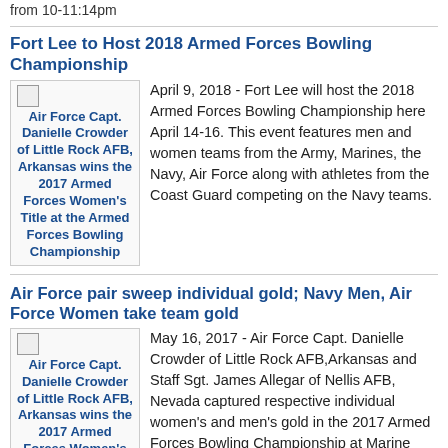from 10-11:14pm
Fort Lee to Host 2018 Armed Forces Bowling Championship
[Figure (photo): Broken image placeholder with caption: Air Force Capt. Danielle Crowder of Little Rock AFB, Arkansas wins the 2017 Armed Forces Women's Title at the Armed Forces Bowling Championship]
April 9, 2018 - Fort Lee will host the 2018 Armed Forces Bowling Championship here April 14-16. This event features men and women teams from the Army, Marines, the Navy, Air Force along with athletes from the Coast Guard competing on the Navy teams.
Air Force pair sweep individual gold; Navy Men, Air Force Women take team gold
[Figure (photo): Broken image placeholder with caption: Air Force Capt. Danielle Crowder of Little Rock AFB, Arkansas wins the 2017 Armed Forces Women's Title at the Armed Forces Bowling Championship hosted at Marine Corps Base Camp Pendleton]
May 16, 2017 - Air Force Capt. Danielle Crowder of Little Rock AFB,Arkansas and Staff Sgt. James Allegar of Nellis AFB, Nevada captured respective individual women's and men's gold in the 2017 Armed Forces Bowling Championship at Marine Corps